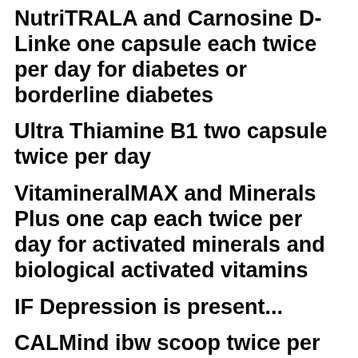NutriTRALA and Carnosine D-Linke one capsule each twice per day for diabetes or borderline diabetes
Ultra Thiamine B1 two capsule twice per day
VitamineralMAX and Minerals Plus one cap each twice per day for activated minerals and biological activated vitamins
IF Depression is present...
CALMind ibw scoop twice per day
IF low energy level...